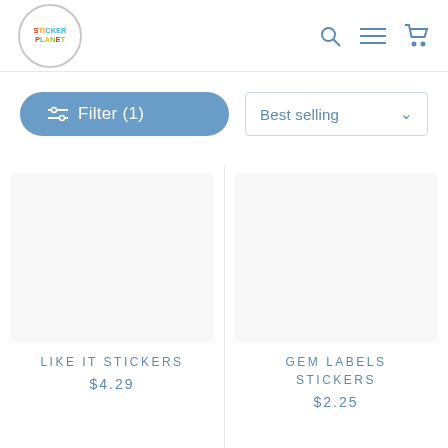Sticker Planet — logo with search, menu, and cart icons
Filter (1)
Best selling
LIKE IT STICKERS
$4.29
GEM LABELS STICKERS
$2.25